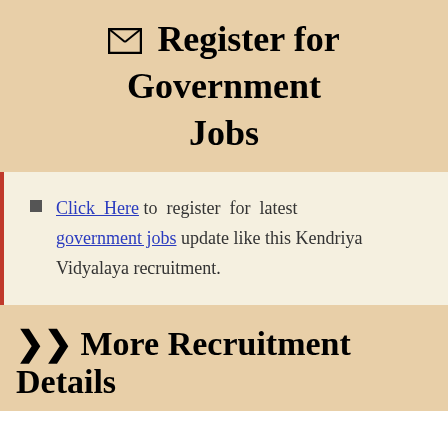✉ Register for Government Jobs
Click Here to register for latest government jobs update like this Kendriya Vidyalaya recruitment.
➤➤ More Recruitment Details